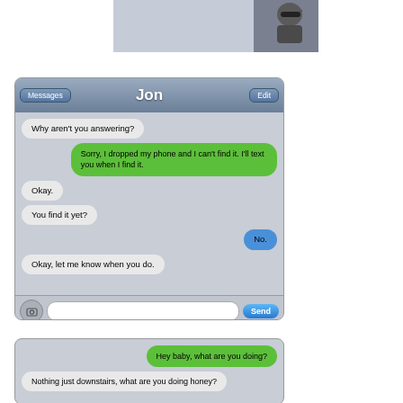[Figure (screenshot): iPhone profile area with user photo (man in sunglasses)]
[Figure (screenshot): iMessage conversation with Jon. Messages: 'Why aren't you answering?' / 'Sorry, I dropped my phone and I can't find it. I'll text you when I find it.' / 'Okay.' / 'You find it yet?' / 'No.' / 'Okay, let me know when you do.']
[Figure (screenshot): Second iMessage conversation. Messages: 'Hey baby, what are you doing?' / 'Nothing just downstairs, what are you doing honey?']